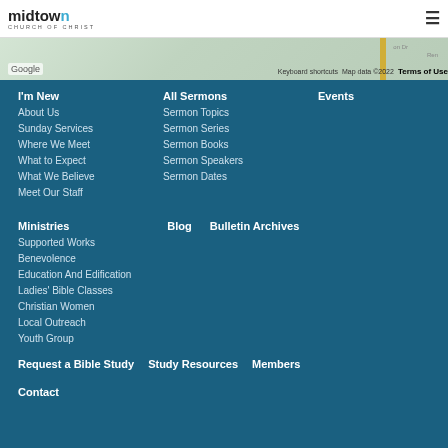[Figure (logo): Midtown Church of Christ logo with blue 'n' in midtown]
[Figure (map): Google Maps screenshot showing partial street map with yellow road and map credits]
I'm New
About Us
Sunday Services
Where We Meet
What to Expect
What We Believe
Meet Our Staff
All Sermons
Sermon Topics
Sermon Series
Sermon Books
Sermon Speakers
Sermon Dates
Events
Ministries
Supported Works
Benevolence
Education And Edification
Ladies' Bible Classes
Christian Women
Local Outreach
Youth Group
Blog
Bulletin Archives
Request a Bible Study
Study Resources
Members
Contact